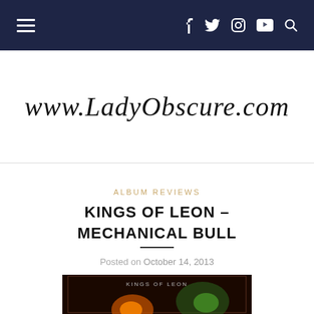Navigation bar with hamburger menu and social icons (Facebook, Twitter, Instagram, YouTube, Search)
www.LadyObscure.com
ALBUM REVIEWS
KINGS OF LEON – MECHANICAL BULL
Posted on October 14, 2013
[Figure (photo): Album cover for Kings of Leon – Mechanical Bull, showing dark background with orange/gold and green glowing orbs. Text 'KINGS OF LEON' visible at top of cover.]